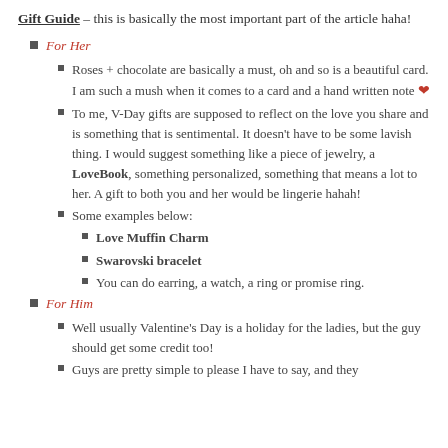Gift Guide – this is basically the most important part of the article haha!
For Her
Roses + chocolate are basically a must, oh and so is a beautiful card. I am such a mush when it comes to a card and a hand written note ❤
To me, V-Day gifts are supposed to reflect on the love you share and is something that is sentimental. It doesn't have to be some lavish thing. I would suggest something like a piece of jewelry, a LoveBook, something personalized, something that means a lot to her. A gift to both you and her would be lingerie hahah!
Some examples below:
Love Muffin Charm
Swarovski bracelet
You can do earring, a watch, a ring or promise ring.
For Him
Well usually Valentine's Day is a holiday for the ladies, but the guy should get some credit too!
Guys are pretty simple to please I have to say, and they